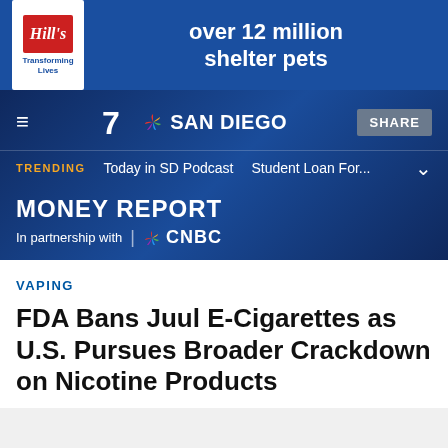[Figure (screenshot): Hill's Pet Nutrition advertisement banner — blue background with Hill's logo (red box with white italic text) on left, white bold text reading 'over 12 million shelter pets' on right]
[Figure (screenshot): NBC 7 San Diego news website header — dark blue background with city skyline overlay, hamburger menu, NBC 7 San Diego logo, Share button, trending bar with 'Today in SD Podcast' and 'Student Loan For...', Money Report section with CNBC partnership logo]
VAPING
FDA Bans Juul E-Cigarettes as U.S. Pursues Broader Crackdown on Nicotine Products